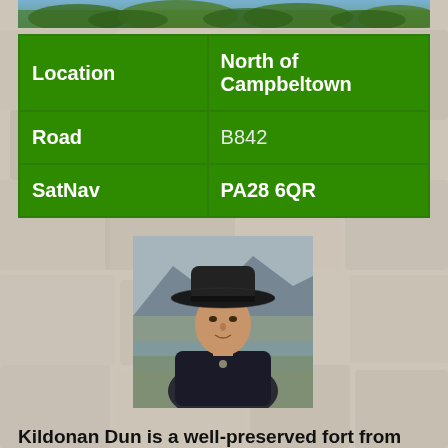[Figure (photo): Top banner photo showing green foliage/trees]
| Location | North of Campbeltown |
| Road | B842 |
| SatNav | PA28 6QR |
[Figure (photo): Portrait photo of a man wearing a dark cowboy/wide-brim hat, with a mountainous landscape in the background]
Kildonan Dun is a well-preserved fort from the first or second century AD, built on a rocky knoll on the eastern shores of Kintyre overlooking Kilbrannan Sound. The dun would...